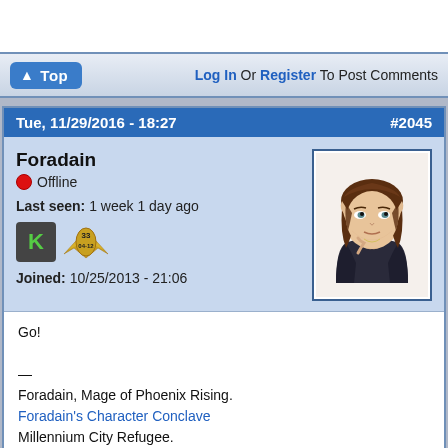Top | Log In Or Register To Post Comments
Tue, 11/29/2016 - 18:27   #2045
Foradain
Offline
Last seen: 1 week 1 day ago
Joined: 10/25/2013 - 21:06
[Figure (illustration): Anime-style elf character with brown hair and pointed ears, wearing a dark jacket]
Go!

—

Foradain, Mage of Phoenix Rising.
Foradain's Character Conclave
Millennium City Refugee.
Avatar courtesy of Satellite9